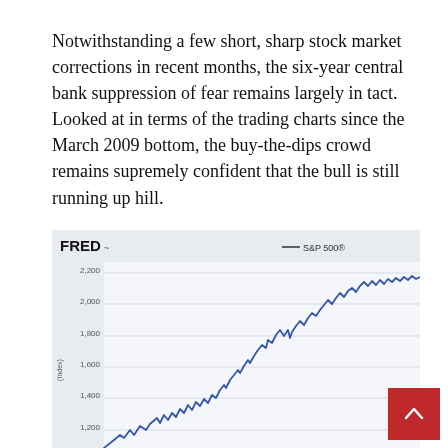Notwithstanding a few short, sharp stock market corrections in recent months, the six-year central bank suppression of fear remains largely in tact. Looked at in terms of the trading charts since the March 2009 bottom, the buy-the-dips crowd remains supremely confident that the bull is still running up hill.
[Figure (continuous-plot): FRED line chart showing S&P 500 index from approximately 2009 to 2015, rising from around 1,000 to over 2,000, with y-axis labels: 1,200; 1,400; 1,600; 1,800; 2,000; 2,200. The line trends sharply upward from lower left to upper right with characteristic volatility.]